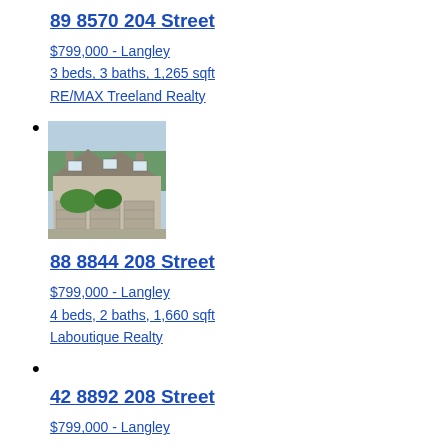89 8570 204 Street
$799,000 - Langley
3 beds, 3 baths, 1,265 sqft
RE/MAX Treeland Realty
[Figure (photo): Exterior photo of a townhouse complex with grey/beige siding, multiple peaked roofs, chimneys, and green shrubs in front with a driveway]
88 8844 208 Street
$799,000 - Langley
4 beds, 2 baths, 1,660 sqft
Laboutique Realty
42 8892 208 Street
$799,000 - Langley